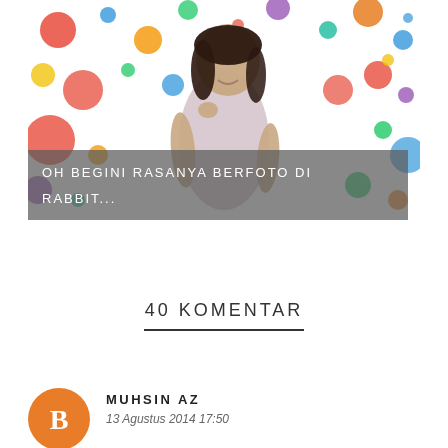[Figure (photo): A smiling young woman in a light pink top posing in front of a colorful polka dot wall art installation.]
OH BEGINI RASANYA BERFOTO DI RABBIT...
40 KOMENTAR
MUHSIN AZ
13 Agustus 2014 17:50